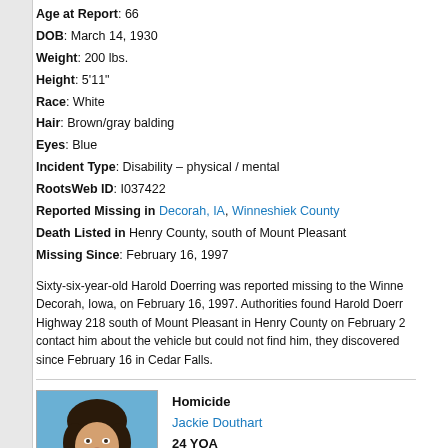Age at Report: 66
DOB: March 14, 1930
Weight: 200 lbs.
Height: 5'11"
Race: White
Hair: Brown/gray balding
Eyes: Blue
Incident Type: Disability – physical / mental
RootsWeb ID: I037422
Reported Missing in Decorah, IA, Winneshiek County
Death Listed in Henry County, south of Mount Pleasant
Missing Since: February 16, 1997
Sixty-six-year-old Harold Doerring was reported missing to the Winne- Decorah, Iowa, on February 16, 1997. Authorities found Harold Doerr- Highway 218 south of Mount Pleasant in Henry County on February 2- contact him about the vehicle but could not find him, they discovered- since February 16 in Cedar Falls.
Homicide
Jackie Douthart
24 YOA
[Figure (photo): Headshot photo of Jackie Douthart, a woman with dark hair against a blue background.]